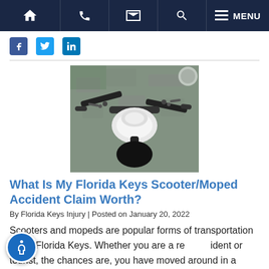Navigation bar with home, phone, email, search, and MENU icons
[Figure (other): Social media icons: Facebook, Twitter, LinkedIn]
[Figure (photo): Close-up photo of a scooter/moped handlebar and front panel from above, on a road surface]
What Is My Florida Keys Scooter/Moped Accident Claim Worth?
By Florida Keys Injury | Posted on January 20, 2022
Scooters and mopeds are popular forms of transportation in the Florida Keys. Whether you are a resident or tourist, the chances are, you have moved around in a scooter or moped at least once. Scooters